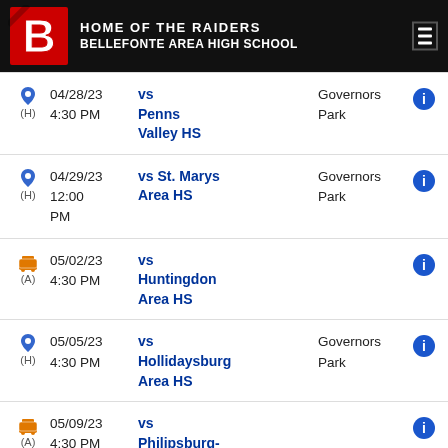HOME OF THE RAIDERS BELLEFONTE AREA HIGH SCHOOL
| Type | Date/Time | Opponent | Location | Info |
| --- | --- | --- | --- | --- |
| (H) | 04/28/23 4:30 PM | vs Penns Valley HS | Governors Park | ℹ |
| (H) | 04/29/23 12:00 PM | vs St. Marys Area HS | Governors Park | ℹ |
| (A) | 05/02/23 4:30 PM | vs Huntingdon Area HS |  | ℹ |
| (H) | 05/05/23 4:30 PM | vs Hollidaysburg Area HS | Governors Park | ℹ |
| (A) | 05/09/23 4:30 PM | vs Philipsburg-Osceola HS |  | ℹ |